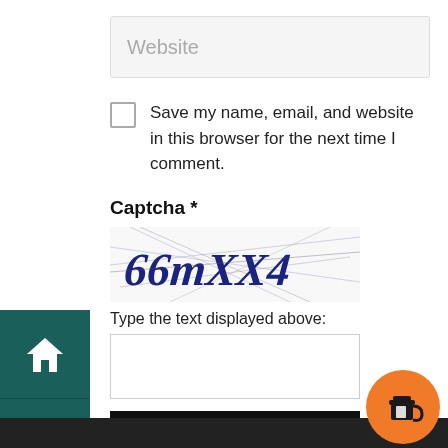[Figure (screenshot): Website form input field with placeholder text 'Website', light grey background]
Save my name, email, and website in this browser for the next time I comment.
Captcha *
[Figure (other): CAPTCHA image showing distorted text '66mXX4' in dark blue on white background with noise lines]
Type the text displayed above:
[Figure (screenshot): Empty text input box for CAPTCHA entry]
[Figure (screenshot): Black 'Post Comment »' button]
[Figure (other): Orange circular button with coffee cup icon at bottom right]